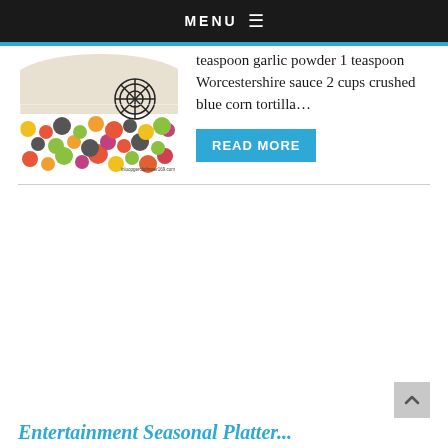MENU ≡
[Figure (photo): A colorful polka-dot tablecloth or placemat with a black spider web decoration and a white plate visible at top, with watermark 'inloopgerclothceer169.com']
teaspoon garlic powder 1 teaspoon Worcestershire sauce 2 cups crushed blue corn tortilla…
READ MORE
Entertainment Seasonal Platter...